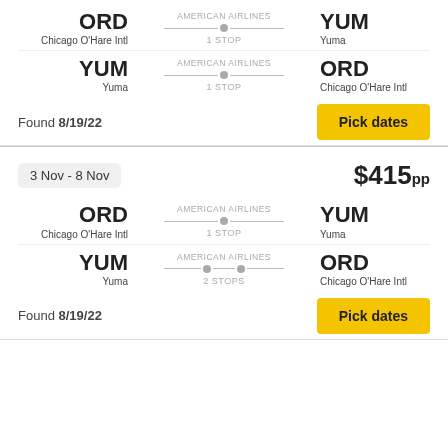[Figure (infographic): Flight route: ORD Chicago O'Hare Intl to YUM Yuma, American Airlines, 1 STOP]
[Figure (infographic): Flight route: YUM Yuma to ORD Chicago O'Hare Intl, American Airlines, 1 STOP]
Found 8/19/22
Pick dates
3 Nov - 8 Nov
$415pp
[Figure (infographic): Flight route: ORD Chicago O'Hare Intl to YUM Yuma, American Airlines, 1 STOP]
[Figure (infographic): Flight route: YUM Yuma to ORD Chicago O'Hare Intl, American Airlines, 2 STOPS]
Found 8/19/22
Pick dates